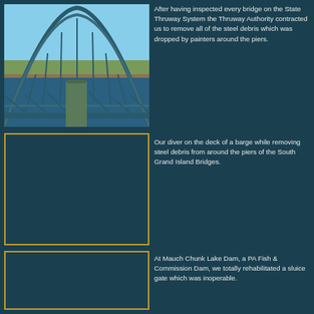[Figure (photo): Underside view of a large steel arch bridge (Grand Island Bridge) from below, showing blue steel trusses and arches against a sky background with vegetation visible at the base]
After having inspected every bridge on the State Thruway System the Thruway Authority contracted us to remove all of the steel debris which was dropped by painters around the piers.
[Figure (photo): Diver on the deck of a barge while removing steel debris from around the piers of the South Grand Island Bridges - placeholder box with gold border]
Our diver on the deck of a barge while removing steel debris from around the piers of the South Grand Island Bridges.
[Figure (photo): Photo of Mauch Chunk Lake Dam rehabilitation work - placeholder box with gold border]
At Mauch Chunk Lake Dam, a PA Fish & Commission Dam, we totally rehabilitated a sluice gate which was inoperable.